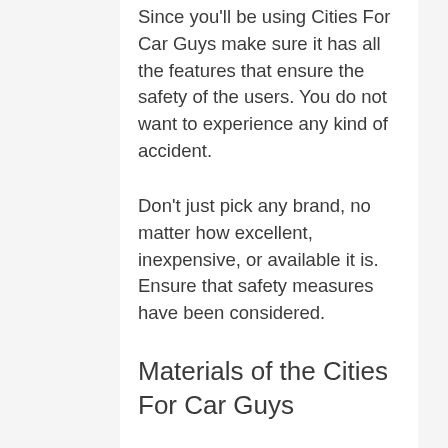Since you'll be using Cities For Car Guys make sure it has all the features that ensure the safety of the users. You do not want to experience any kind of accident.
Don't just pick any brand, no matter how excellent, inexpensive, or available it is. Ensure that safety measures have been considered.
Materials of the Cities For Car Guys
We advise not to buy products from brands that don't specify the